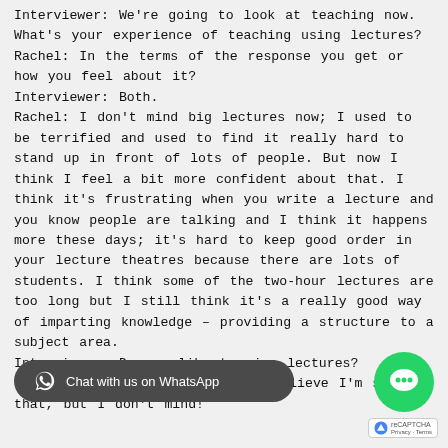Interviewer: We're going to look at teaching now. What's your experience of teaching using lectures?
Rachel: In the terms of the response you get or how you feel about it?
Interviewer: Both.
Rachel: I don't mind big lectures now; I used to be terrified and used to find it really hard to stand up in front of lots of people. But now I think I feel a bit more confident about that. I think it's frustrating when you write a lecture and you know people are talking and I think it happens more these days; it's hard to keep good order in your lecture theatres because there are lots of students. I think some of the two-hour lectures are too long but I still think it's a really good way of imparting knowledge – providing a structure to a subject area.
Interviewer: Do you like to give lectures?
Rachel: Yes, I do now. I can't believe I'm saying that, but I don't mind!